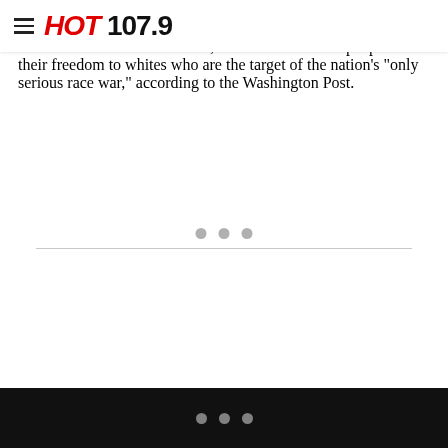HOT 107.9
Freedom Center conferences organized by right-wing commentator David Horowitz, who has said Black people owe their freedom to whites who are the target of the nation's "only serious race war," according to the Washington Post.
[Figure (other): Three gray dots (loading/pagination indicator) with a horizontal rule below]
[Figure (other): Three gray dots (loading/pagination indicator) on a black bar at the bottom of the page]